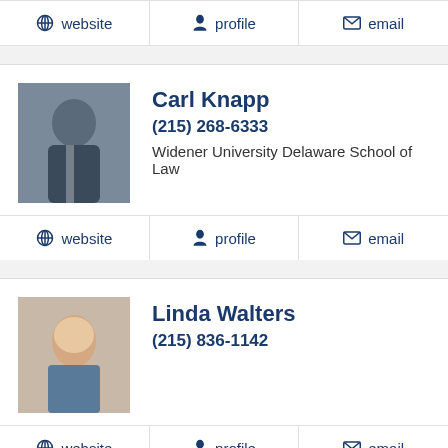website | profile | email
Carl Knapp
(215) 268-6333
Widener University Delaware School of Law
website | profile | email
Linda Walters
(215) 836-1142
website | profile | email
Barbara Schneider